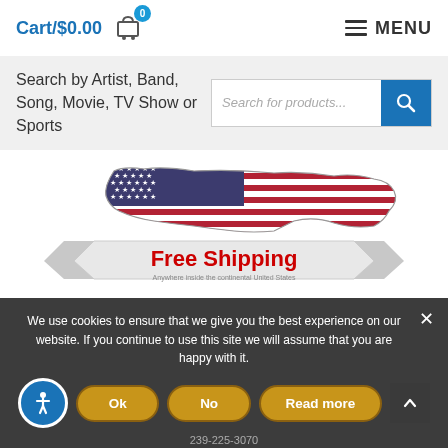Cart/$0.00  🛒 0    ≡ MENU
Search by Artist, Band, Song, Movie, TV Show or Sports
[Figure (illustration): USA map shaped graphic filled with American flag pattern (stars and stripes), with a banner ribbon below it reading 'Free Shipping' in bold red text, and smaller text beneath.]
We use cookies to ensure that we give you the best experience on our website. If you continue to use this site we will assume that you are happy with it.
Ok  No  Read more
239-225-3070